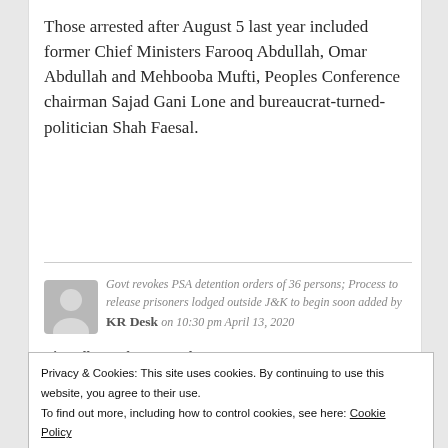Those arrested after August 5 last year included former Chief Ministers Farooq Abdullah, Omar Abdullah and Mehbooba Mufti, Peoples Conference chairman Sajad Gani Lone and bureaucrat-turned-politician Shah Faesal.
Govt revokes PSA detention orders of 36 persons; Process to release prisoners lodged outside J&K to begin soon added by KR Desk on 10:30 pm April 13, 2020
View all posts by KR Desk →
[Figure (photo): Avatar placeholder image — grey square with white circle, representing a user profile photo]
Privacy & Cookies: This site uses cookies. By continuing to use this website, you agree to their use. To find out more, including how to control cookies, see here: Cookie Policy
Close and accept
[Figure (other): Social sharing buttons: Facebook, Twitter, WhatsApp]